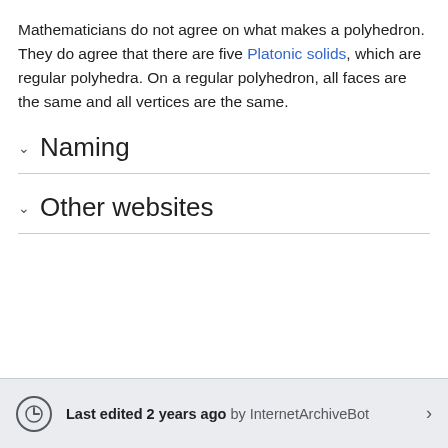Mathematicians do not agree on what makes a polyhedron. They do agree that there are five Platonic solids, which are regular polyhedra. On a regular polyhedron, all faces are the same and all vertices are the same.
Naming
Other websites
Last edited 2 years ago by InternetArchiveBot